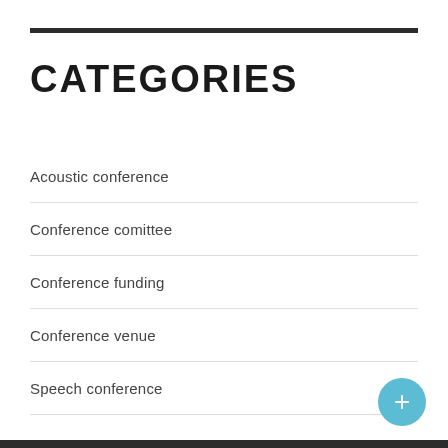CATEGORIES
Acoustic conference
Conference comittee
Conference funding
Conference venue
Speech conference